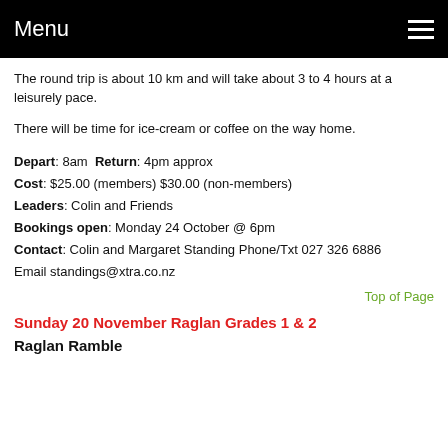Menu
The round trip is about 10 km and will take about 3 to 4 hours at a leisurely pace.
There will be time for ice-cream or coffee on the way home.
Depart: 8am Return: 4pm approx
Cost: $25.00 (members) $30.00 (non-members)
Leaders: Colin and Friends
Bookings open: Monday 24 October @ 6pm
Contact: Colin and Margaret Standing Phone/Txt 027 326 6886
Email standings@xtra.co.nz
Top of Page
Sunday 20 November Raglan Grades 1 & 2
Raglan Ramble